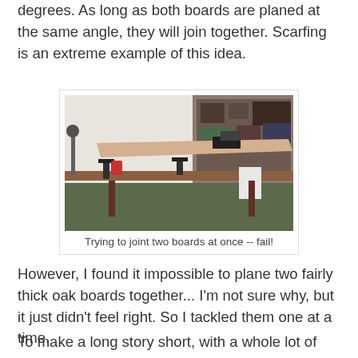degrees. As long as both boards are planed at the same angle, they will join together. Scarfing is an extreme example of this idea.
[Figure (photo): Workshop photo showing a long board being worked on a workbench, with clamps and tools visible in the background.]
Trying to joint two boards at once -- fail!
However, I found it impossible to plane two fairly thick oak boards together... I'm not sure why, but it just didn't feel right. So I tackled them one at a time.
To make a long story short, with a whole lot of trial and error